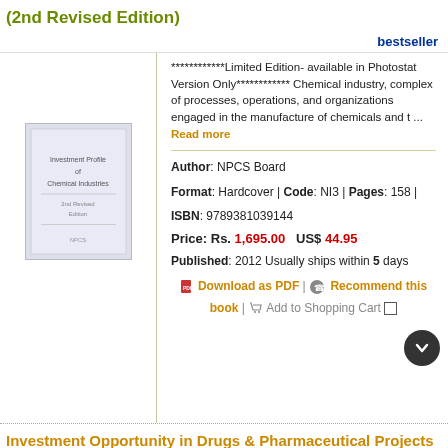(2nd Revised Edition)
bestseller
************Limited Edition- available in Photostat Version Only************ Chemical industry, complex of processes, operations, and organizations engaged in the manufacture of chemicals and t ... Read more
Author: NPCS Board
Format: Hardcover | Code: NI3 | Pages: 158 |
ISBN: 9789381039144
Price: Rs. 1,695.00   US$ 44.95
[Figure (illustration): Book cover thumbnail for the publication]
Published: 2012 Usually ships within 5 days
Download as PDF | Recommend this book | Add to Shopping Cart
Investment Opportunity in Drugs & Pharmaceutical Projects